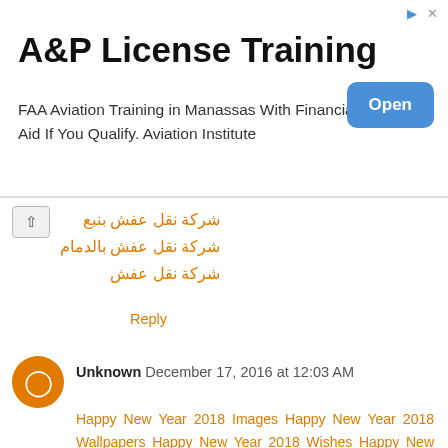[Figure (other): Advertisement banner for A&P License Training. Title: 'A&P License Training'. Body: 'FAA Aviation Training in Manassas With Financial Aid If You Qualify. Aviation Institute'. Blue 'Open' button on the right.]
شركة نقل عفش بنبع
شركة نقل عفش بالدمام
شركة نقل عفش
Reply
Unknown December 17, 2016 at 12:03 AM
Happy New Year 2018 Images Happy New Year 2018 Wallpapers Happy New Year 2018 Wishes Happy New Year 2018 Quotes Happy New Year 2018 Photos Happy New Year 2019 Happy New Year 2019 Images Happy New Year 2019 Wallpapers Happy New Year 2017 Wishes Sayings In French New Year 2017 Funny Jokes In Japanese New Year 2017 Animated Greeting Images In Hebrew New Year 2017 Whatsapp DP Status Messages Quotes SMS In Hebrew New Year 2017 Wallpaper Free Download Happy